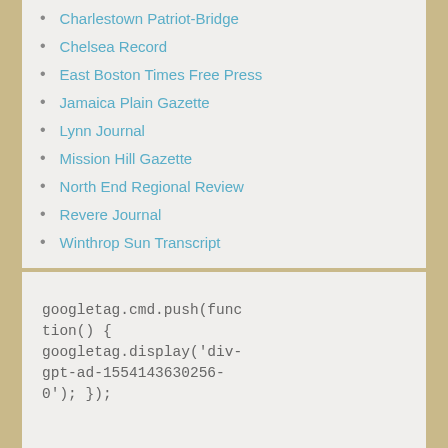Charlestown Patriot-Bridge
Chelsea Record
East Boston Times Free Press
Jamaica Plain Gazette
Lynn Journal
Mission Hill Gazette
North End Regional Review
Revere Journal
Winthrop Sun Transcript
googletag.cmd.push(function() { googletag.display('div-gpt-ad-1554143630256-0'); });